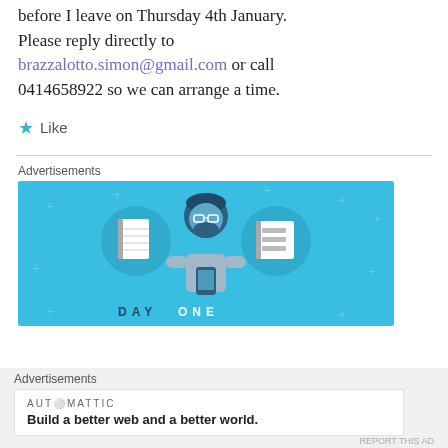before I leave on Thursday 4th January. Please reply directly to brazzalotto.simon@gmail.com or call 0414658922 so we can arrange a time.
★ Like
Advertisements
[Figure (illustration): Blue advertisement banner for Day One app showing a cartoon person with headphones holding a phone, flanked by two circular icons of notebooks/lists, with 'DAY ONE' text at the bottom.]
Advertisements
[Figure (illustration): Automattic advertisement with logo and tagline: Build a better web and a better world.]